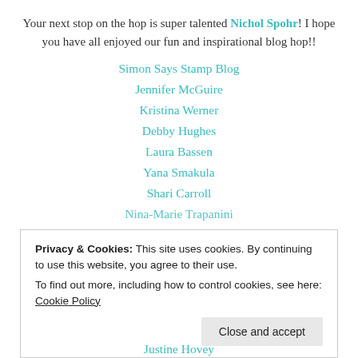Your next stop on the hop is super talented Nichol Spohr! I hope you have all enjoyed our fun and inspirational blog hop!!
Simon Says Stamp Blog
Jennifer McGuire
Kristina Werner
Debby Hughes
Laura Bassen
Yana Smakula
Shari Carroll
Nina-Marie Trapanini (partially visible)
Privacy & Cookies: This site uses cookies. By continuing to use this website, you agree to their use. To find out more, including how to control cookies, see here: Cookie Policy
Justine Hovey